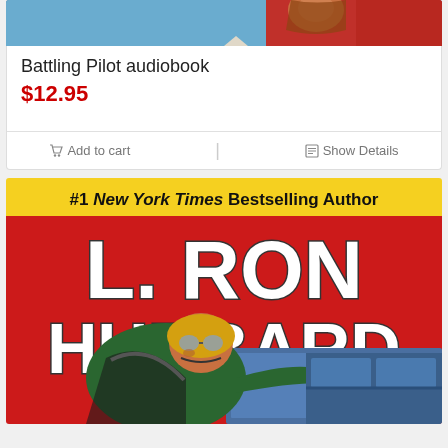[Figure (screenshot): Top portion of a book cover showing illustrated characters with dramatic action scene, cropped at top]
Battling Pilot audiobook
$12.95
Add to cart  |  Show Details
[Figure (illustration): Book cover for L. Ron Hubbard 'Battling Pilot' showing #1 New York Times Bestselling Author banner at top in yellow, large red background with white bold text 'L. RON HUBBARD', and an illustrated pilot in green jacket and yellow helmet emerging from aircraft cockpit]